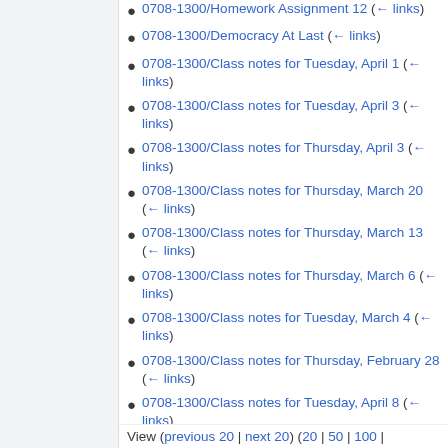0708-1300/Homework Assignment 12 (← links)
0708-1300/Democracy At Last (← links)
0708-1300/Class notes for Tuesday, April 1 (← links)
0708-1300/Class notes for Tuesday, April 3 (← links)
0708-1300/Class notes for Thursday, April 3 (← links)
0708-1300/Class notes for Thursday, March 20 (← links)
0708-1300/Class notes for Thursday, March 13 (← links)
0708-1300/Class notes for Thursday, March 6 (← links)
0708-1300/Class notes for Tuesday, March 4 (← links)
0708-1300/Class notes for Thursday, February 28 (← links)
0708-1300/Class notes for Tuesday, April 8 (← links)
View (previous 20 | next 20) (20 | 50 | 100 |